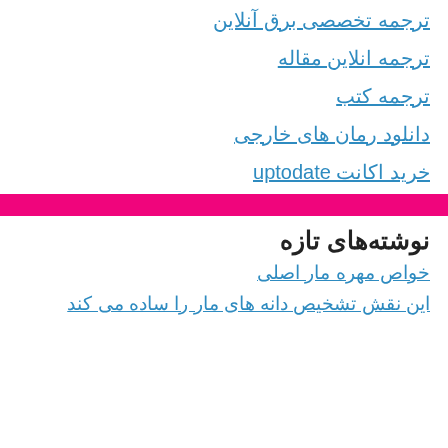ترجمه تخصصی برق آنلاین
ترجمه انلاین مقاله
ترجمه کتب
دانلود رمان های خارجی
خرید اکانت uptodate
نوشته‌های تازه
خواص مهره مار اصلی
این نقش تشخیص دانه های مار را ساده می کند